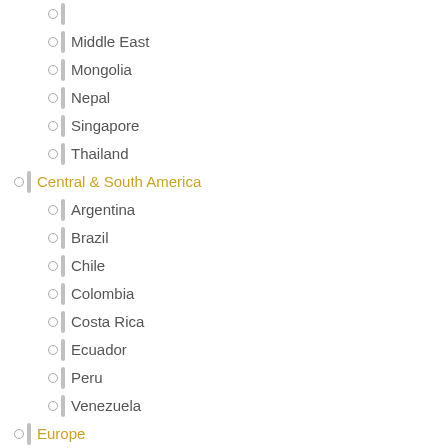(partial item at top)
Middle East
Mongolia
Nepal
Singapore
Thailand
Central & South America
Argentina
Brazil
Chile
Colombia
Costa Rica
Ecuador
Peru
Venezuela
Europe
Europe A-E
Austria
Belgium